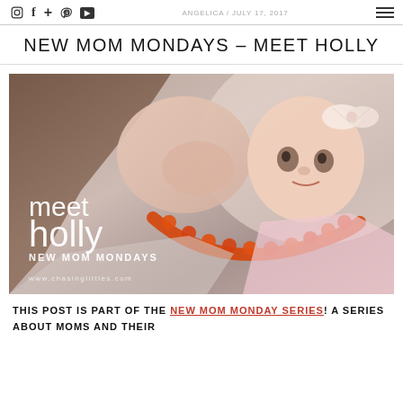⊙  f  +  ⊕  ▶  ANGELICA / JULY 17, 2017  ≡
NEW MOM MONDAYS – MEET HOLLY
[Figure (photo): Photo of a mother kissing a baby on the head; the baby is wearing a bow headband and holding an orange beaded necklace. Overlay text reads: 'meet holly / NEW MOM MONDAYS / www.chasinglittles.com']
THIS POST IS PART OF THE NEW MOM MONDAY SERIES! A SERIES ABOUT MOMS AND THEIR